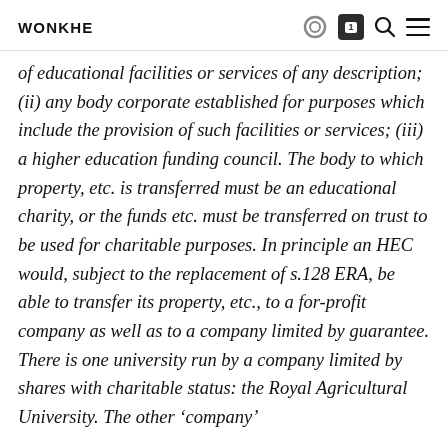WONKHE
of educational facilities or services of any description; (ii) any body corporate established for purposes which include the provision of such facilities or services; (iii) a higher education funding council. The body to which property, etc. is transferred must be an educational charity, or the funds etc. must be transferred on trust to be used for charitable purposes. In principle an HEC would, subject to the replacement of s.128 ERA, be able to transfer its property, etc., to a for-profit company as well as to a company limited by guarantee. There is one university run by a company limited by shares with charitable status: the Royal Agricultural University. The other ‘company’